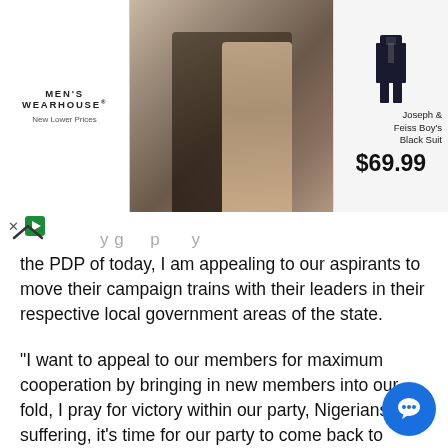[Figure (other): Men's Wearhouse advertisement banner showing a couple in formal wear and a Joseph & Feiss Boy's Black Suit priced at $69.99]
the PDP of today, I am appealing to our aspirants to move their campaign trains with their leaders in their respective local government areas of the state.
"I want to appeal to our members for maximum cooperation by bringing in new members into our fold, I pray for victory within our party, Nigerians are suffering, it's time for our party to come back to power and be in charge from federal to local government. PDP is the only party that can wipe away the tears from the faces of Nigerians", he said.
In the same vein, Mrs Omisande in her message appealed the members to extend their tentacles across the three local